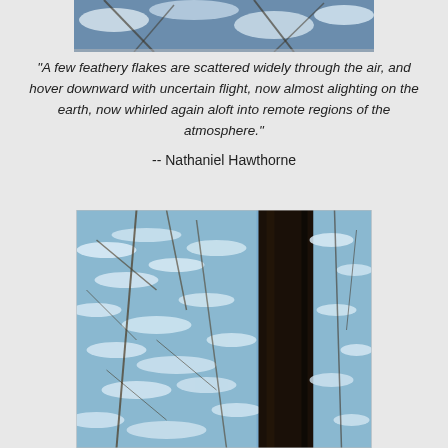[Figure (photo): Snow-covered branches and winter scene, partially visible at top of page]
“A few feathery flakes are scattered widely through the air, and hover downward with uncertain flight, now almost alighting on the earth, now whirled again aloft into remote regions of the atmosphere.”

-- Nathaniel Hawthorne
[Figure (photo): Snow-covered tree branches with a dark tree trunk in the center, winter forest scene with blue sky visible through the branches]